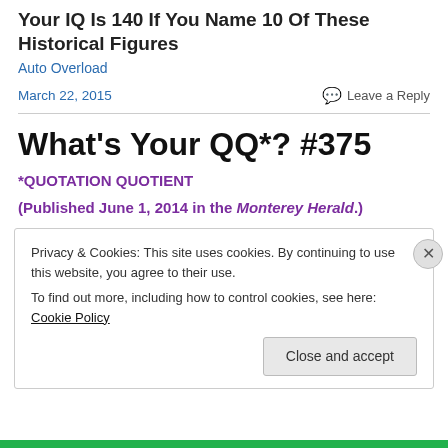Your IQ Is 140 If You Name 10 Of These Historical Figures
Auto Overload
March 22, 2015
Leave a Reply
What's Your QQ*? #375
*QUOTATION QUOTIENT
(Published June 1, 2014 in the Monterey Herald.)
Privacy & Cookies: This site uses cookies. By continuing to use this website, you agree to their use.
To find out more, including how to control cookies, see here: Cookie Policy